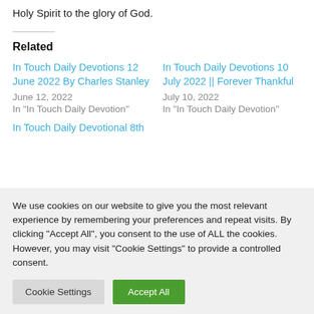Holy Spirit to the glory of God.
Related
In Touch Daily Devotions 12 June 2022 By Charles Stanley
June 12, 2022
In "In Touch Daily Devotion"
In Touch Daily Devotions 10 July 2022 || Forever Thankful
July 10, 2022
In "In Touch Daily Devotion"
In Touch Daily Devotional 8th
We use cookies on our website to give you the most relevant experience by remembering your preferences and repeat visits. By clicking "Accept All", you consent to the use of ALL the cookies. However, you may visit "Cookie Settings" to provide a controlled consent.